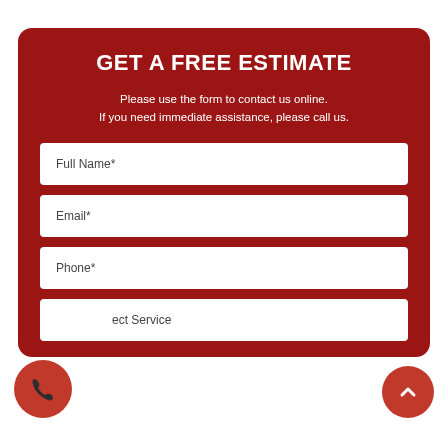GET A FREE ESTIMATE
Please use the form to contact us online.
If you need immediate assistance, please call us.
Full Name*
Email*
Phone*
ect Service